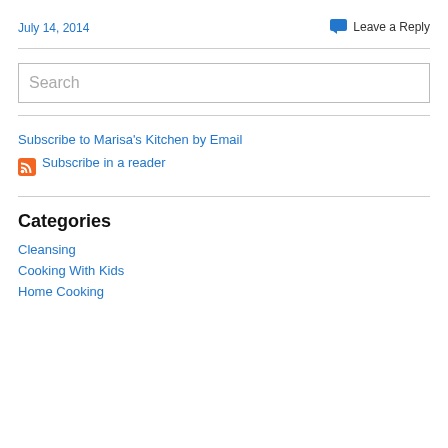July 14, 2014
Leave a Reply
Search
Subscribe to Marisa's Kitchen by Email
Subscribe in a reader
Categories
Cleansing
Cooking With Kids
Home Cooking